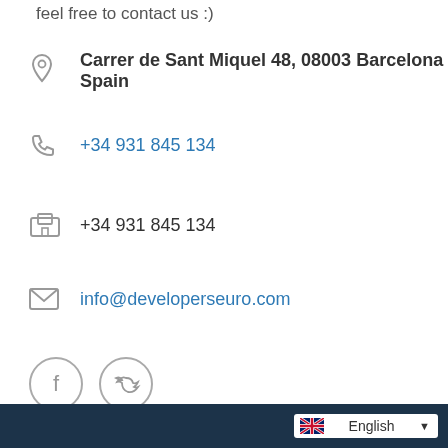feel free to contact us :)
Carrer de Sant Miquel 48, 08003 Barcelona Spain
+34 931 845 134 (phone)
+34 931 845 134 (fax)
info@developerseuro.com
[Figure (other): Facebook and Twitter social media circular icon buttons]
English (language selector)